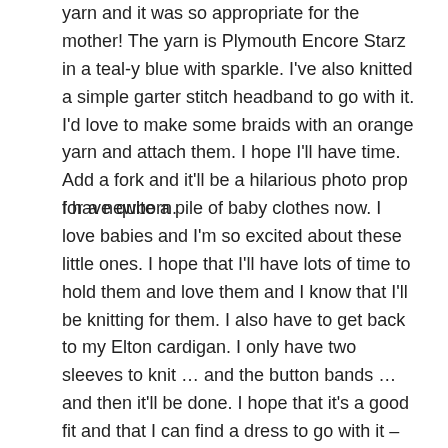yarn and it was so appropriate for the mother! The yarn is Plymouth Encore Starz in a teal-y blue with sparkle. I've also knitted a simple garter stitch headband to go with it. I'd love to make some braids with an orange yarn and attach them. I hope I'll have time. Add a fork and it'll be a hilarious photo prop for a newborn.
I have quite a pile of baby clothes now. I love babies and I'm so excited about these little ones. I hope that I'll have lots of time to hold them and love them and I know that I'll be knitting for them. I also have to get back to my Elton cardigan. I only have two sleeves to knit … and the button bands … and then it'll be done. I hope that it's a good fit and that I can find a dress to go with it – we are heading to Washington, DC in December for my bonus daughter's wedding and I am thinking that I can use it for that event … maybe with some sparkly buttons? I also have to focus on the Arne & Carlos Advent jumpers. I have exactly half of them knitted … maybe I'll give myself some grace and another year to complete the set. If I really concentrated on them, I could get them done in a couple of weeks.